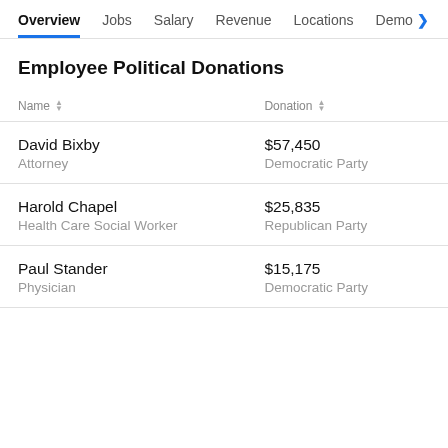Overview  Jobs  Salary  Revenue  Locations  Demo >
Employee Political Donations
| Name | Donation |
| --- | --- |
| David Bixby
Attorney | $57,450
Democratic Party |
| Harold Chapel
Health Care Social Worker | $25,835
Republican Party |
| Paul Stander
Physician | $15,175
Democratic Party |